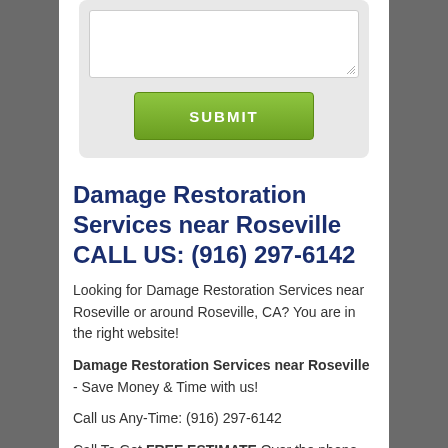[Figure (screenshot): Partial web form showing a textarea and a green SUBMIT button on a light gray rounded card background]
Damage Restoration Services near Roseville CALL US: (916) 297-6142
Looking for Damage Restoration Services near Roseville or around Roseville, CA? You are in the right website!
Damage Restoration Services near Roseville - Save Money & Time with us!
Call us Any-Time: (916) 297-6142
Call To Get FREE ESTIMATE Over the phone for